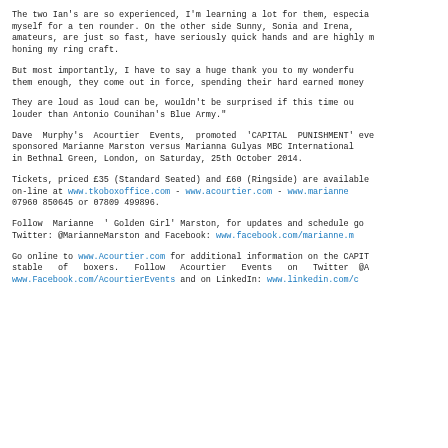The two Ian's are so experienced, I'm learning a lot for them, especially myself for a ten rounder. On the other side Sunny, Sonia and Irena, amateurs, are just so fast, have seriously quick hands and are highly m honing my ring craft.
But most importantly, I have to say a huge thank you to my wonderfu them enough, they come out in force, spending their hard earned money
They are loud as loud can be, wouldn't be surprised if this time ou louder than Antonio Counihan's Blue Army."
Dave Murphy's Acourtier Events, promoted 'CAPITAL PUNISHMENT' eve sponsored Marianne Marston versus Marianna Gulyas MBC International in Bethnal Green, London, on Saturday, 25th October 2014.
Tickets, priced £35 (Standard Seated) and £60 (Ringside) are available on-line at www.tkoboxoffice.com - www.acourtier.com - www.marianne 07960 850645 or 07809 499896.
Follow Marianne ' Golden Girl' Marston, for updates and schedule go Twitter: @MarianneMarston and Facebook: www.facebook.com/marianne.m
Go online to www.Acourtier.com for additional information on the CAPIT stable of boxers. Follow Acourtier Events on Twitter @A www.Facebook.com/AcourtierEvents and on LinkedIn: www.linkedin.com/c